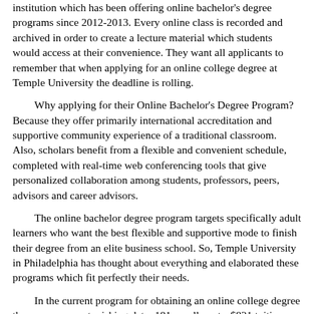institution which has been offering online bachelor's degree programs since 2012-2013. Every online class is recorded and archived in order to create a lecture material which students would access at their convenience. They want all applicants to remember that when applying for an online college degree at Temple University the deadline is rolling.
Why applying for their Online Bachelor's Degree Program? Because they offer primarily international accreditation and supportive community experience of a traditional classroom. Also, scholars benefit from a flexible and convenient schedule, completed with real-time web conferencing tools that give personalized collaboration among students, professors, peers, advisors and career advisors.
The online bachelor degree program targets specifically adult learners who want the best flexible and supportive mode to finish their degree from an elite business school. So, Temple University in Philadelphia has thought about everything and elaborated these programs which fit perfectly their needs.
In the current program for obtaining an online college degree there are some astonishing data: 181 enrollments, $821 tuition per credit and the application deadline is rolling. Cool, isn't it?
Most popular majors from Temple University are: Business Administration and Management, General, Accounting, Marketing/Marketing Management, General.
If you are already interested in this opportunity for gaining a college degree online from Temple University, then you should notice they have